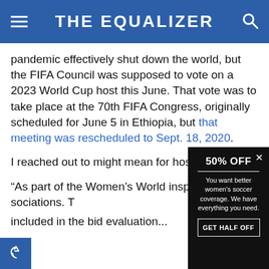THE EQUALIZER
pandemic effectively shut down the world, but the FIFA Council was supposed to vote on a 2023 World Cup host this June. That vote was to take place at the 70th FIFA Congress, originally scheduled for June 5 in Ethiopia, but that meeting was rescheduled to Sept. 18, 2020.
I reached out to might mean for host and receive
“As part of the Women’s World inspection visits sociations. T included in the bid evaluation...
[Figure (screenshot): Promotional overlay/popup with black background reading '50% OFF' in large bold white text, followed by a horizontal white line, then 'You want better women’s soccer coverage. We have everything you need.' and a 'GET HALF OFF' button with white border. A white X close button appears top right.]